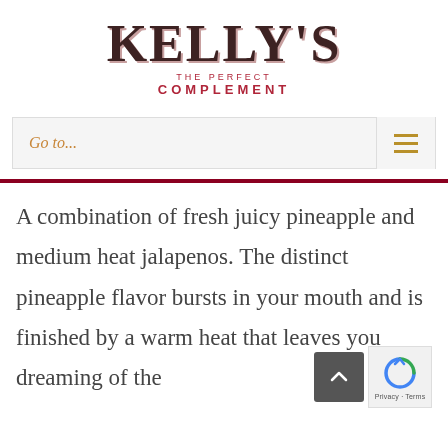[Figure (logo): Kelly's The Perfect Complement logo with stylized text]
[Figure (screenshot): Navigation bar with 'Go to...' text and hamburger menu icon]
A combination of fresh juicy pineapple and medium heat jalapenos. The distinct pineapple flavor bursts in your mouth and is finished by a warm heat that leaves you dreaming of the